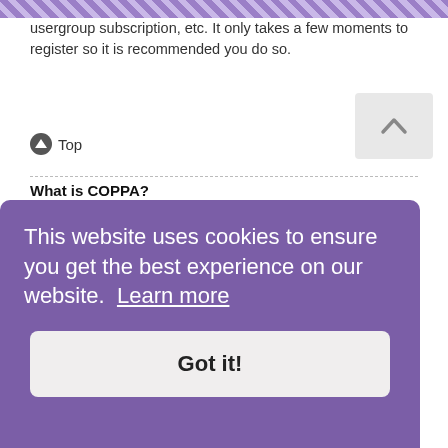[Figure (other): Diagonal purple stripe header bar]
usergroup subscription, etc. It only takes a few moments to register so it is recommended you do so.
Top
What is COPPA?
COPPA, or the Children’s Online Privacy Protection Act of 1998, is a law in the United States requiring websites which can potentially collect information from minors under the age of 13 to have written parental consent or some other method of legal guardian acknowledgment, allowing the collection of personally identifiable information from a minor under the age of 13. If you are unsure if this applies to you as someone trying to register or to the website you are trying to register on, contact legal counsel for assistance. Please note that phpBB Limited and the owners of this board cannot provide legal advice and is not a point of contact for legal concerns of any kind, except as outlined in question “Who do I contact about abusive and/or legal matters related to this
t new d your IP ontact a board administrator for assistance.
This website uses cookies to ensure you get the best experience on our website. Learn more
Got it!